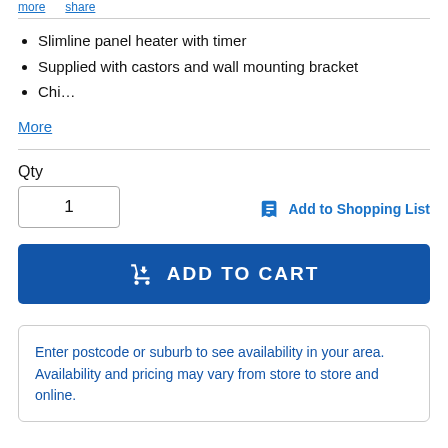Slimline panel heater with timer
Supplied with castors and wall mounting bracket
Chi…
More
Qty
1
Add to Shopping List
ADD TO CART
Enter postcode or suburb to see availability in your area. Availability and pricing may vary from store to store and online.